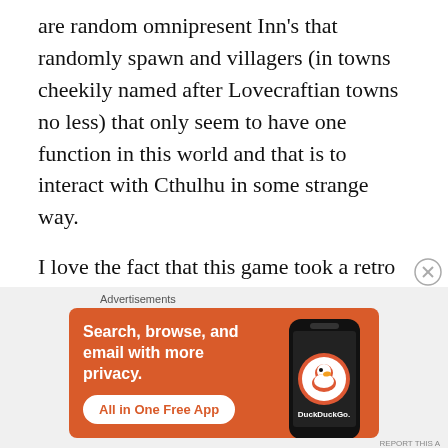are random omnipresent Inn’s that randomly spawn and villagers (in towns cheekily named after Lovecraftian towns no less) that only seem to have one function in this world and that is to interact with Cthulhu in some strange way.
I love the fact that this game took a retro style and an old genre and was able to put a new and creative spin on it for the new generation of gamers out there to enjoy. Now granted,
[Figure (other): DuckDuckGo advertisement banner with orange background showing 'Search, browse, and email with more privacy. All in One Free App' text and a phone image with DuckDuckGo logo]
Advertisements